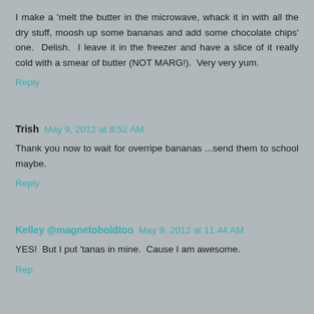I make a 'melt the butter in the microwave, whack it in with all the dry stuff, moosh up some bananas and add some chocolate chips' one. Delish. I leave it in the freezer and have a slice of it really cold with a smear of butter (NOT MARG!). Very very yum.
Reply
Trish May 9, 2012 at 8:52 AM
Thank you now to wait for overripe bananas ...send them to school maybe.
Reply
Kelley @magnetoboldtoo May 9, 2012 at 11:44 AM
YES! But I put 'tanas in mine. Cause I am awesome.
Reply